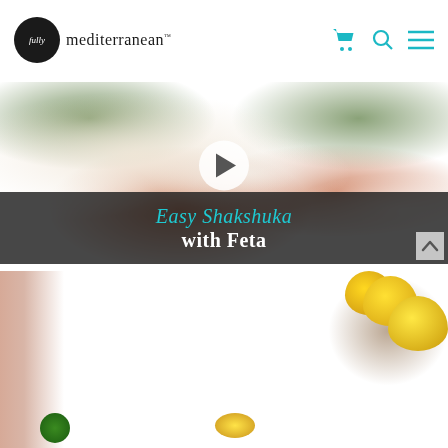fully mediterranean™
[Figure (photo): Food photo of shakshuka with eggs, feta cheese, herbs with a play button overlay and dark caption bar reading 'Easy Shakshuka with Feta']
Easy Shakshuka with Feta
[Figure (photo): Overhead food photo showing a hand pouring into a glass bowl, lemons in a wooden bowl, herbs, and a lemon slice on a marble surface]